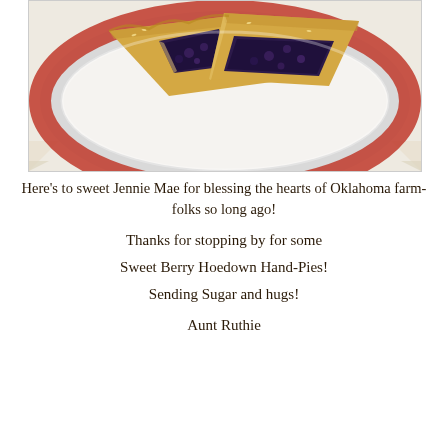[Figure (photo): Close-up photo of berry hand pies (turnovers) cut open showing dark berry filling, on a white plate with red rim border, on a white doily background.]
Here’s to sweet Jennie Mae for blessing the hearts of Oklahoma farm-folks so long ago!
Thanks for stopping by for some
Sweet Berry Hoedown Hand-Pies!
Sending Sugar and hugs!
Aunt Ruthie